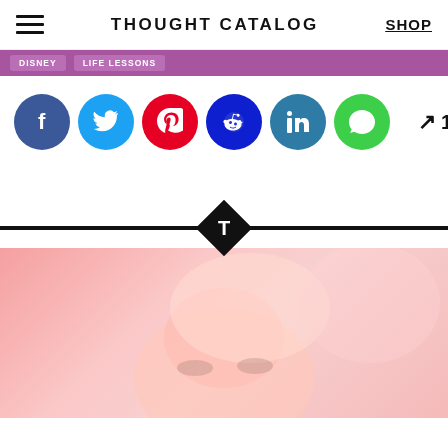THOUGHT CATALOG
DISNEY  LIFE LESSONS
[Figure (infographic): Social share buttons row: Facebook (blue circle), Twitter (light blue circle), Pinterest (red circle), Reddit (dark blue circle), LinkedIn (teal circle), Messages/SMS (green circle), trending arrow icon with count 12.5k]
[Figure (illustration): Black diamond shape with white T logo centered, overlaid on a horizontal black divider line]
[Figure (photo): Pink-toned photo showing top portion of a person's face with forehead and eyes visible against a pink gradient background]